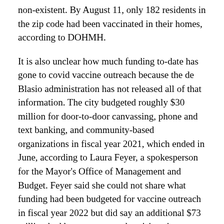non-existent. By August 11, only 182 residents in the zip code had been vaccinated in their homes, according to DOHMH.
It is also unclear how much funding to-date has gone to covid vaccine outreach because the de Blasio administration has not released all of that information. The city budgeted roughly $30 million for door-to-door canvassing, phone and text banking, and community-based organizations in fiscal year 2021, which ended in June, according to Laura Feyer, a spokesperson for the Mayor's Office of Management and Budget. Feyer said she could not share what funding had been budgeted for vaccine outreach in fiscal year 2022 but did say an additional $73 million had been spent on advertising since January.
Far Rockaway (11691) was not included in a $15 million state grant program, announced by then-Governor Cuomo, in late July, according to a report by Politico